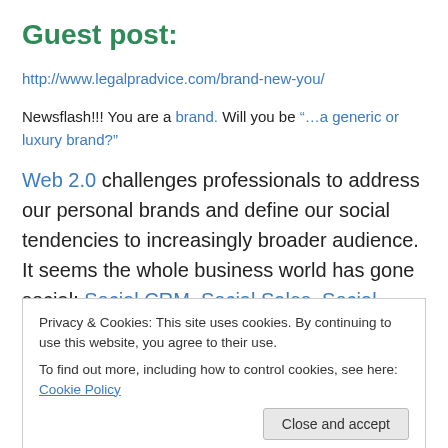Guest post:
http://www.legalpradvice.com/brand-new-you/
Newsflash!!! You are a brand. Will you be “…a generic or luxury brand?”
Web 2.0 challenges professionals to address our personal brands and define our social tendencies to increasingly broader audience. It seems the whole business world has gone social: Social CRM, Social Sales, Social CEOs, etc… If Mark Zuckerman gets his way, you’ll
Privacy & Cookies: This site uses cookies. By continuing to use this website, you agree to their use.
To find out more, including how to control cookies, see here: Cookie Policy
in alignment with the image that you project. Brand